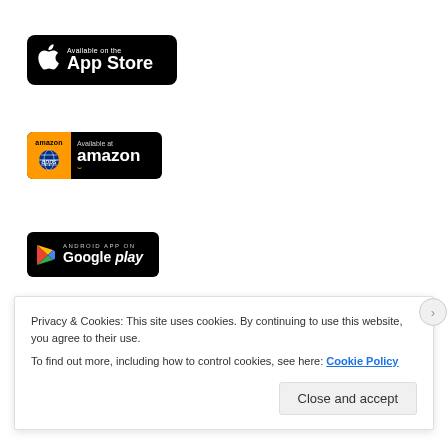[Figure (logo): Apple App Store badge: black rounded rectangle with Apple logo icon and text 'Available on the App Store']
[Figure (logo): Amazon Appstore badge: black rounded rectangle with orange Amazon apps icon on left and 'Available at amazon' text with smile arrow]
[Figure (logo): Google Play badge: black rounded rectangle with colorful Play triangle icon and 'ANDROID APP ON Google play' text]
Privacy & Cookies: This site uses cookies. By continuing to use this website, you agree to their use.
To find out more, including how to control cookies, see here: Cookie Policy
Close and accept